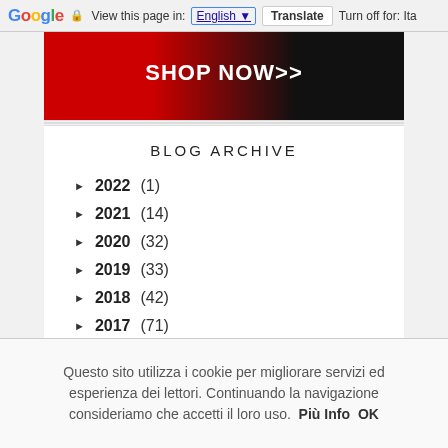Google | View this page in: English | Translate | Turn off for: Ita
[Figure (photo): Ad banner with red and black background showing 'SHOP NOW>>' text in white]
BLOG ARCHIVE
► 2022 (1)
► 2021 (14)
► 2020 (32)
► 2019 (33)
► 2018 (42)
► 2017 (71)
Questo sito utilizza i cookie per migliorare servizi ed esperienza dei lettori. Continuando la navigazione consideriamo che accetti il loro uso. Più Info OK